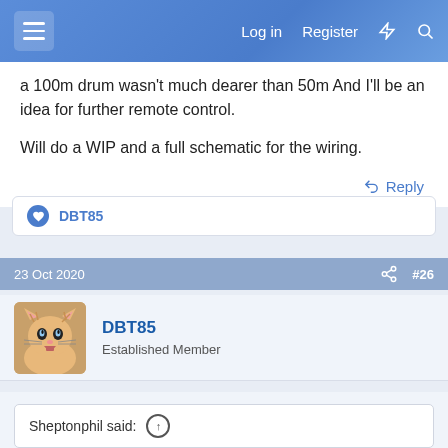Log in  Register
a 100m drum wasn't much dearer than 50m And I'll be an idea for further remote control.

Will do a WIP and a full schematic for the wiring.
DBT85
23 Oct 2020  #26
DBT85
Established Member
Sheptonphil said:
Report Ad